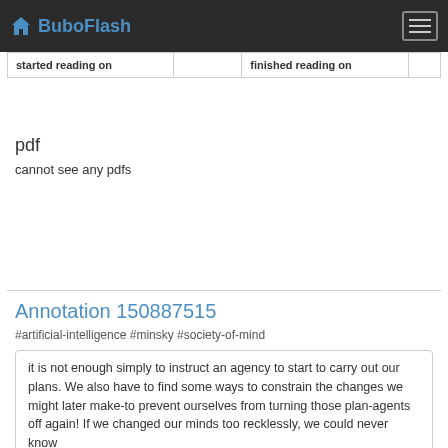BuboFlash
| started reading on |  | finished reading on |  |
pdf
cannot see any pdfs
Annotation 150887515
#artificial-intelligence #minsky #society-of-mind
it is not enough simply to instruct an agency to start to carry out our plans. We also have to find some ways to constrain the changes we might later make-to prevent ourselves from turning those plan-agents off again! If we changed our minds too recklessly, we could never know